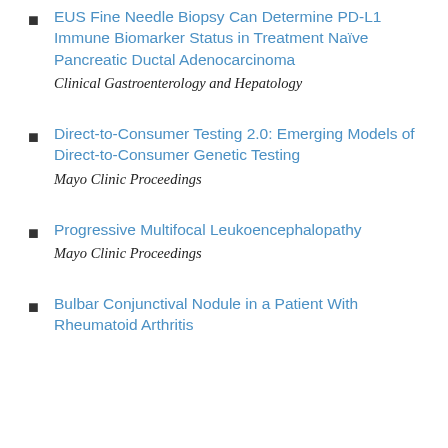EUS Fine Needle Biopsy Can Determine PD-L1 Immune Biomarker Status in Treatment Naïve Pancreatic Ductal Adenocarcinoma
Clinical Gastroenterology and Hepatology
Direct-to-Consumer Testing 2.0: Emerging Models of Direct-to-Consumer Genetic Testing
Mayo Clinic Proceedings
Progressive Multifocal Leukoencephalopathy
Mayo Clinic Proceedings
Bulbar Conjunctival Nodule in a Patient With Rheumatoid Arthritis